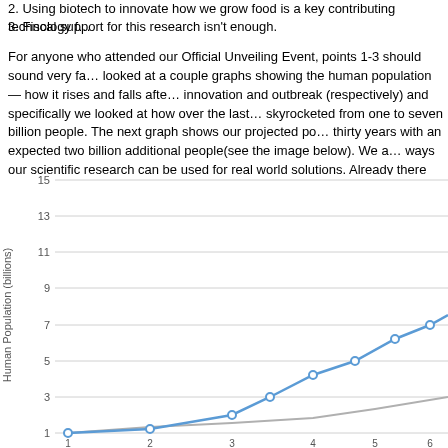2. Using biotech to innovate how we grow food is a key contributing technology f...
3. Fiscal support for this research isn't enough.
For anyone who attended our Official Unveiling Event, points 1-3 should sound very fa... looked at a couple graphs showing the human population — how it rises and falls afte... innovation and outbreak (respectively) and specifically we looked at how over the last... skyrocketed from one to seven billion people. The next graph shows our projected po... thirty years with an expected two billion additional people(see the image below). We a... ways our scientific research can be used for real world solutions. Already there are co... are drought resistant or salmon that grow twice as fast!
[Figure (continuous-plot): Line chart showing human population in billions over time. Y-axis labeled 'Human Population (billions)' with gridlines at 1, 3, 5, 7, 9, 11, 13, 15. Two lines: a blue curved line showing rapid exponential growth, and a gray line showing slower growth. Data points marked with circles on the blue line. X-axis shows years from approximately 1 to future projections.]